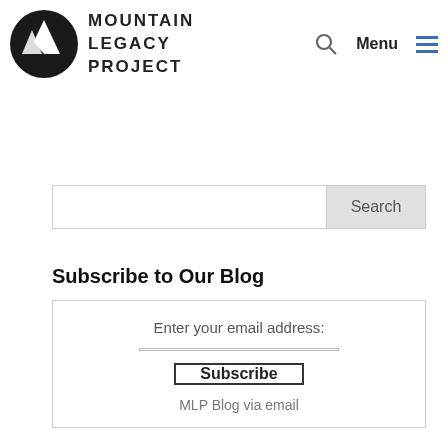[Figure (logo): Mountain Legacy Project logo: black circle with white mountain/tree silhouette, next to bold uppercase text 'MOUNTAIN LEGACY PROJECT']
Menu
Search
Subscribe to Our Blog
Enter your email address:
Subscribe
MLP Blog via email